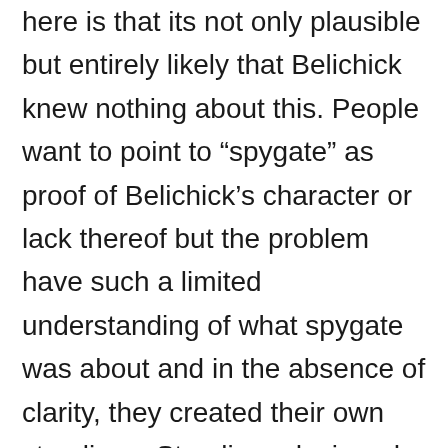here is that its not only plausible but entirely likely that Belichick knew nothing about this. People want to point to “spygate” as proof of Belichick’s character or lack thereof but the problem have such a limited understanding of what spygate was about and in the absence of clarity, they created their own storylines. Storylines designed to fit the false picture of Belichick that had already been in existence for some time.
This whole controversy isn’t about footballs. its about spygate. Adding